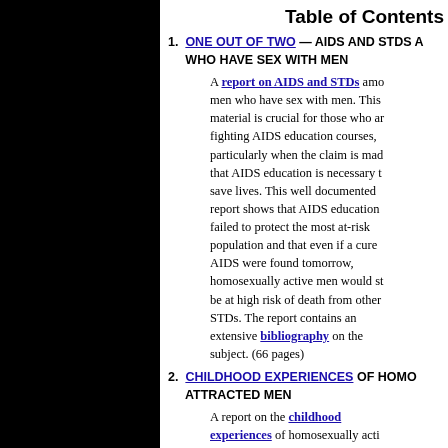Table of Contents
1. ONE OUT OF TWO — AIDS AND STDS AND MEN WHO HAVE SEX WITH MEN — A report on AIDS and STDs among men who have sex with men. This material is crucial for those who are fighting AIDS education courses, particularly when the claim is made that AIDS education is necessary to save lives. This well documented report shows that AIDS education failed to protect the most at-risk population and that even if a cure to AIDS were found tomorrow, homosexually active men would still be at high risk of death from other STDs. The report contains an extensive bibliography on the subject. (66 pages)
2. CHILDHOOD EXPERIENCES OF HOMOSEXUALLY ATTRACTED MEN — A report on the childhood experiences of homosexually active men. The report contains an extensive bibliography. — This report reviews the research on the childhood experiences of homosexually active men — research which strongly